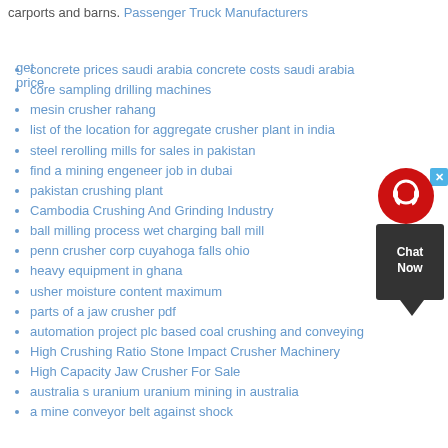carports and barns. Passenger Truck Manufacturers
get price
concrete prices saudi arabia concrete costs saudi arabia
core sampling drilling machines
mesin crusher rahang
list of the location for aggregate crusher plant in india
steel rerolling mills for sales in pakistan
find a mining engeneer job in dubai
pakistan crushing plant
Cambodia Crushing And Grinding Industry
ball milling process wet charging ball mill
penn crusher corp cuyahoga falls ohio
heavy equipment in ghana
usher moisture content maximum
parts of a jaw crusher pdf
automation project plc based coal crushing and conveying
High Crushing Ratio Stone Impact Crusher Machinery
High Capacity Jaw Crusher For Sale
australia s uranium uranium mining in australia
a mine conveyor belt against shock
[Figure (other): Chat widget with red circle icon and dark speech bubble showing 'Chat Now' text with blue close button]